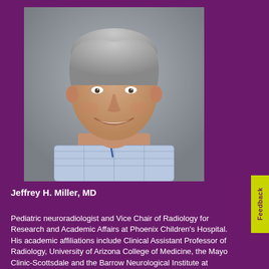[Figure (photo): Headshot portrait of Jeffrey H. Miller, MD — a middle-aged man with short gray hair, smiling, wearing a light blue plaid shirt and a lanyard badge, photographed against a gray background.]
Jeffrey H. Miller, MD
Pediatric neuroradiologist and Vice Chair of Radiology for Research and Academic Affairs at Phoenix Children's Hospital. His academic affiliations include Clinical Assistant Professor of Radiology, University of Arizona College of Medicine, the Mayo Clinic-Scottsdale and the Barrow Neurological Institute at Phoenix Children's Hospital. His current research interests are functional MRI, MR connectomics, and brain PET-CT. He has